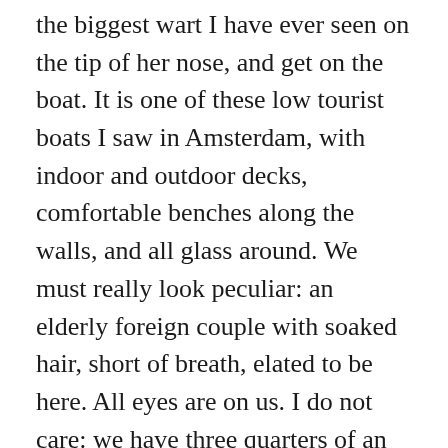the biggest wart I have ever seen on the tip of her nose, and get on the boat. It is one of these low tourist boats I saw in Amsterdam, with indoor and outdoor decks, comfortable benches along the walls, and all glass around. We must really look peculiar: an elderly foreign couple with soaked hair, short of breath, elated to be here. All eyes are on us. I do not care: we have three quarters of an hour ahead of us, without rain, comfortable, warm, with a view of Moscow. We move upstairs to an open deck under a canvas roof. Resting on plastic chairs, with feet up on the railing, we are laughing uncontrollably just thinking of ourselves as homeless people. A small group of young people sits next to us, and otherwise the deck